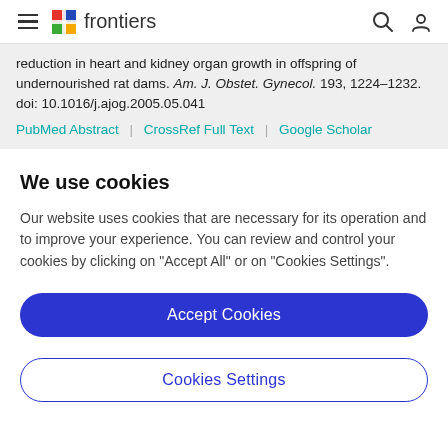frontiers navigation header
reduction in heart and kidney organ growth in offspring of undernourished rat dams. Am. J. Obstet. Gynecol. 193, 1224–1232. doi: 10.1016/j.ajog.2005.05.041
PubMed Abstract | CrossRef Full Text | Google Scholar
We use cookies
Our website uses cookies that are necessary for its operation and to improve your experience. You can review and control your cookies by clicking on "Accept All" or on "Cookies Settings".
Accept Cookies
Cookies Settings